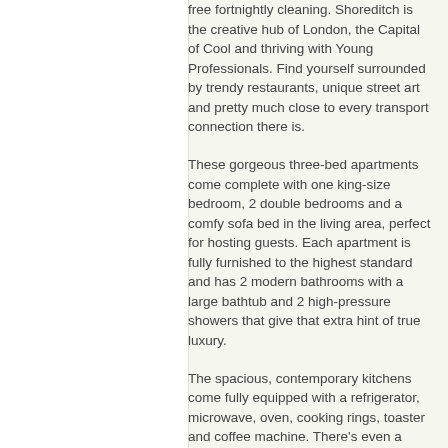free fortnightly cleaning. Shoreditch is the creative hub of London, the Capital of Cool and thriving with Young Professionals. Find yourself surrounded by trendy restaurants, unique street art and pretty much close to every transport connection there is.
These gorgeous three-bed apartments come complete with one king-size bedroom, 2 double bedrooms and a comfy sofa bed in the living area, perfect for hosting guests. Each apartment is fully furnished to the highest standard and has 2 modern bathrooms with a large bathtub and 2 high-pressure showers that give that extra hint of true luxury.
The spacious, contemporary kitchens come fully equipped with a refrigerator, microwave, oven, cooking rings, toaster and coffee machine. There's even a large dining table, perfect for a weekend dinner party.
Shoreditch is London's capital of cool. The location is a hip, urban area with